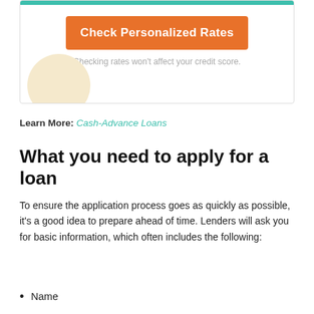[Figure (other): Widget card with orange 'Check Personalized Rates' button, teal top bar, credit score note, and decorative cream semicircle]
Learn More: Cash-Advance Loans
What you need to apply for a loan
To ensure the application process goes as quickly as possible, it's a good idea to prepare ahead of time. Lenders will ask you for basic information, which often includes the following:
Name